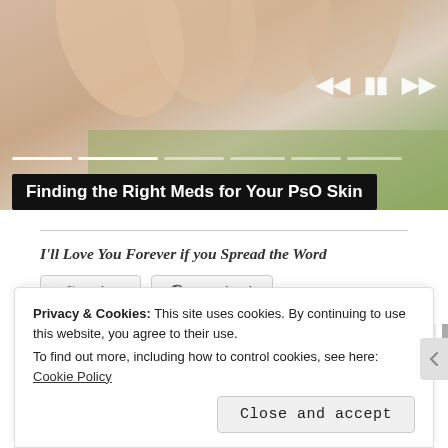[Figure (screenshot): Video player showing hands against a green/skin tone background with playback controls (skip back, pause, skip forward) and a progress bar. Title overlay reads 'Finding the Right Meds for Your PsO Skin'.]
I'll Love You Forever if you Spread the Word
Twitter  Facebook
★ Like  [blogger avatars]  64 bloggers like this.
Privacy & Cookies: This site uses cookies. By continuing to use this website, you agree to their use.
To find out more, including how to control cookies, see here: Cookie Policy
Close and accept